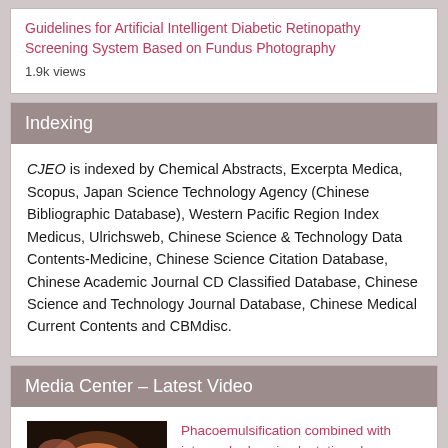Guidelines for Artificial Intelligent Diabetic Retinopathy Screening System Based on Fundus Photography
1.9k views
Indexing
CJEO is indexed by Chemical Abstracts, Excerpta Medica, Scopus, Japan Science Technology Agency (Chinese Bibliographic Database), Western Pacific Region Index Medicus, Ulrichsweb, Chinese Science & Technology Data Contents-Medicine, Chinese Science Citation Database, Chinese Academic Journal CD Classified Database, Chinese Science and Technology Journal Database, Chinese Medical Current Contents and CBMdisc.
Media Center – Latest Video
[Figure (photo): Thumbnail of an eye/fundus medical procedure video with a play button overlay]
Phacoemulsification combined with intraocular lens implantation plus goniosynechialysis and goniotomy for advanced primary angle-closure glaucoma